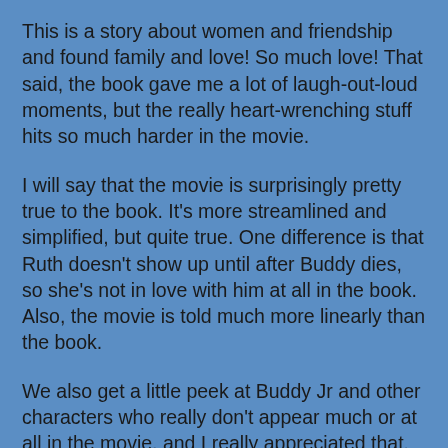This is a story about women and friendship and found family and love! So much love! That said, the book gave me a lot of laugh-out-loud moments, but the really heart-wrenching stuff hits so much harder in the movie.
I will say that the movie is surprisingly pretty true to the book. It's more streamlined and simplified, but quite true. One difference is that Ruth doesn't show up until after Buddy dies, so she's not in love with him at all in the book. Also, the movie is told much more linearly than the book.
We also get a little peek at Buddy Jr and other characters who really don't appear much or at all in the movie, and I really appreciated that. Even more specifically, the book delves into the life experiences of the black people in Whistle Stop more than the movie. Theirs are still side stories, but we get, for example, the different experiences between two brothers and their children.
One of the things that surprised me the most was the difference between the way Ruth and Idgie's stories are